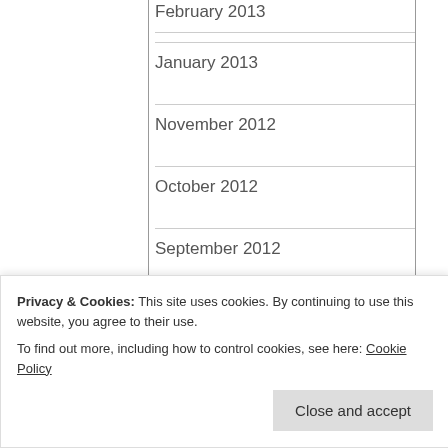February 2013
January 2013
November 2012
October 2012
September 2012
July 2012
June 2012
May 2012
February 2012
Privacy & Cookies: This site uses cookies. By continuing to use this website, you agree to their use. To find out more, including how to control cookies, see here: Cookie Policy
Close and accept